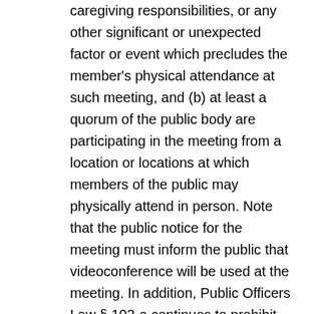caregiving responsibilities, or any other significant or unexpected factor or event which precludes the member's physical attendance at such meeting, and (b) at least a quorum of the public body are participating in the meeting from a location or locations at which members of the public may physically attend in person. Note that the public notice for the meeting must inform the public that videoconference will be used at the meeting. In addition, Public Officers Law § 103-a continues to prohibit meetings from being conducted using only teleconferencing technologies.
Emergency Meetings
Part WW of Chapter 56 of the Laws of 2022 also creates an emergency exception to the in person requirement associated with videoconference meetings. Specifically, if (1) the Governor has declared a state of emergency on the basis of information about